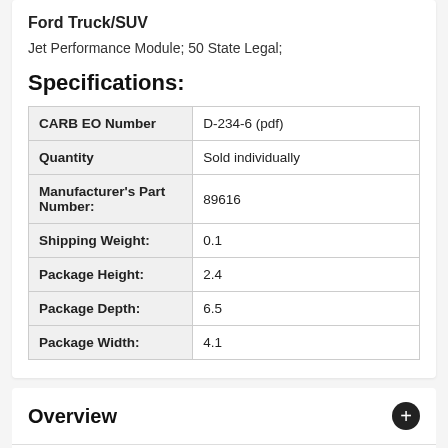Ford Truck/SUV
Jet Performance Module; 50 State Legal;
Specifications:
|  |  |
| --- | --- |
| CARB EO Number | D-234-6 (pdf) |
| Quantity | Sold individually |
| Manufacturer's Part Number: | 89616 |
| Shipping Weight: | 0.1 |
| Package Height: | 2.4 |
| Package Depth: | 6.5 |
| Package Width: | 4.1 |
Overview
Vehicle Fitment